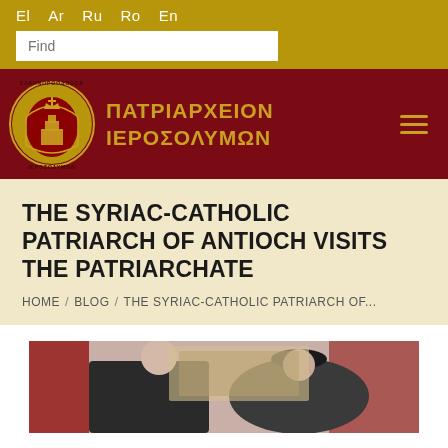El  Ar  Ru  Ro  En
ΠΑΤΡΙΑΡΧΕΙΟΝ ΙΕΡΟΣΟΛΥΜΩΝ
THE SYRIAC-CATHOLIC PATRIARCH OF ANTIOCH VISITS THE PATRIARCHATE
HOME / BLOG / THE SYRIAC-CATHOLIC PATRIARCH OF...
[Figure (photo): Photo of two clergy figures in religious vestments, one wearing a black hat, in a formal meeting room with red decorative elements and a painting in the background.]